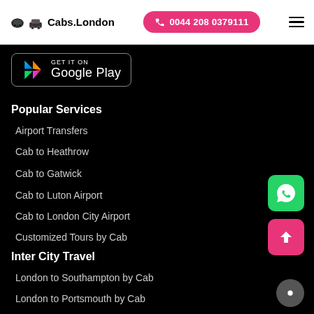Cabs.London | 0044 208 0379111
[Figure (logo): GET IT ON Google Play badge]
Popular Services
Airport Transfers
Cab to Heathrow
Cab to Gatwick
Cab to Luton Airport
Cab to London City Airport
Customized Tours by Cab
Inter City Travel
London to Southampton by Cab
London to Portsmouth by Cab
London to Brighton by Cab